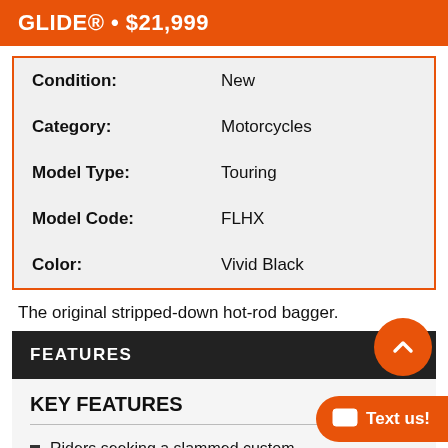GLIDE® • $21,999
| Label | Value |
| --- | --- |
| Condition: | New |
| Category: | Motorcycles |
| Model Type: | Touring |
| Model Code: | FLHX |
| Color: | Vivid Black |
The original stripped-down hot-rod bagger.
FEATURES
KEY FEATURES
Riders seeking a slammed custom
High-style in town and traveling the long road